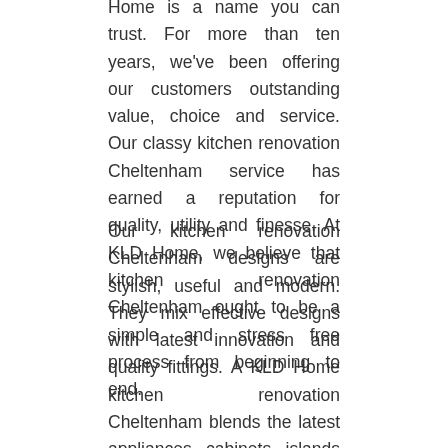Home is a name you can trust. For more than ten years, we've been offering our customers outstanding value, choice and service. Our classy kitchen renovation Cheltenham service has earned a reputation for quality, utility and finesse. At KLD Home, we believe that kitchen renovation Cheltenham ought to be a simple and stress free process from beginning to end.
Our kitchen renovation Cheltenham designs are stylish, useful and modern. They mix effective designs with latest innovation and quality fittings. A KLD Home kitchen renovation Cheltenham blends the latest appliances, cabinets, islands and splashback designs. From matching appliances to concealed cabinets, our kitchen renovation Cheltenham ideas are intended to mirror your identity and way of life.
We keep our kitchen renovation Cheltenham plans simple yet refined, cost effective yet extravagantly stylish. There are many options for different looks and...